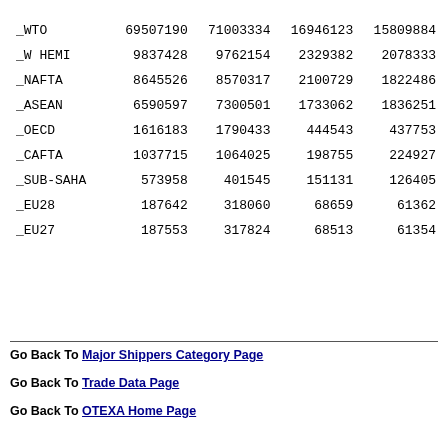| _WTO | 69507190 | 71003334 | 16946123 | 15809884 |
| _W HEMI | 9837428 | 9762154 | 2329382 | 2078333 |
| _NAFTA | 8645526 | 8570317 | 2100729 | 1822486 |
| _ASEAN | 6590597 | 7300501 | 1733062 | 1836251 |
| _OECD | 1616183 | 1790433 | 444543 | 437753 |
| _CAFTA | 1037715 | 1064025 | 198755 | 224927 |
| _SUB-SAHA | 573958 | 401545 | 151131 | 126405 |
| _EU28 | 187642 | 318060 | 68659 | 61362 |
| _EU27 | 187553 | 317824 | 68513 | 61354 |
Go Back To Major Shippers Category Page
Go Back To Trade Data Page
Go Back To OTEXA Home Page